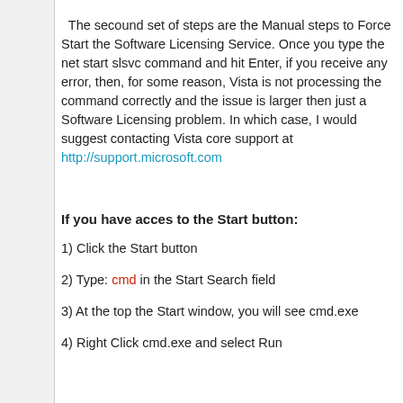The secound set of steps are the Manual steps to Force Start the Software Licensing Service. Once you type the net start slsvc command and hit Enter, if you receive any error, then, for some reason, Vista is not processing the command correctly and the issue is larger then just a Software Licensing problem. In which case, I would suggest contacting Vista core support at http://support.microsoft.com
If you have acces to the Start button:
1) Click the Start button
2) Type: cmd in the Start Search field
3) At the top the Start window, you will see cmd.exe
4) Right Click cmd.exe and select Run